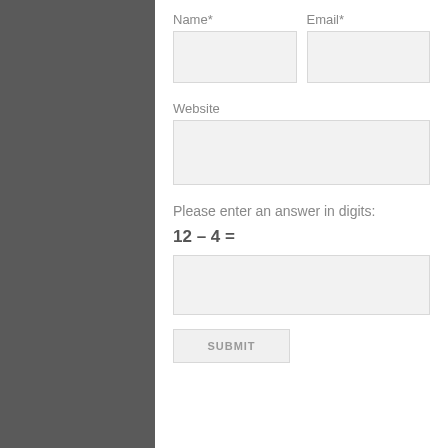Name*
Email*
[Figure (other): Name text input field (empty, light gray background)]
[Figure (other): Email text input field (empty, light gray background)]
Website
[Figure (other): Website text input field (empty, light gray background, full width)]
Please enter an answer in digits:
[Figure (other): Answer text input field (empty, light gray background, full width)]
SUBMIT